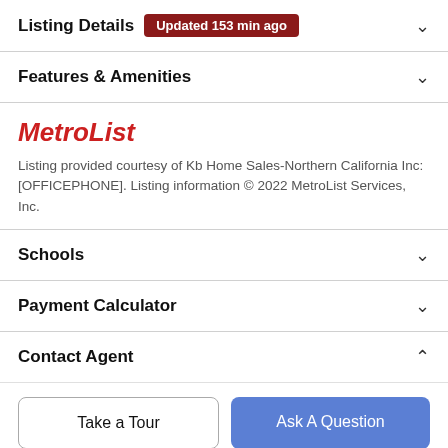Listing Details — Updated 153 min ago
Features & Amenities
[Figure (logo): MetroList logo in red italic bold text]
Listing provided courtesy of Kb Home Sales-Northern California Inc: [OFFICEPHONE]. Listing information © 2022 MetroList Services, Inc.
Schools
Payment Calculator
Contact Agent
Take a Tour
Ask A Question